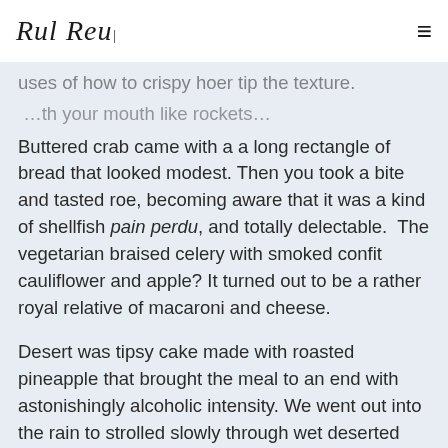Rul Reu | ≡
Buttered crab came with a a long rectangle of bread that looked modest. Then you took a bite and tasted roe, becoming aware that it was a kind of shellfish pain perdu, and totally delectable.  The vegetarian braised celery with smoked confit cauliflower and apple? It turned out to be a rather royal relative of macaroni and cheese.

Desert was tipsy cake made with roasted pineapple that brought the meal to an end with astonishingly alcoholic intensity. We went out into the rain to strolled slowly through wet deserted streets, intoxicated with London.